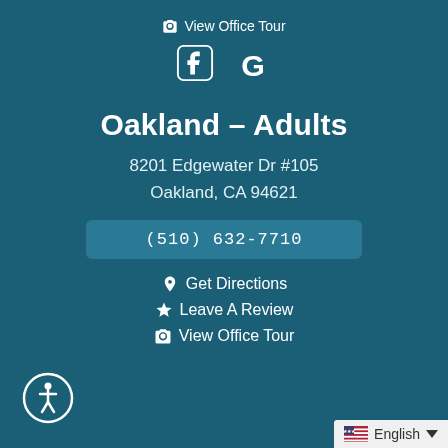📷 View Office Tour
[Figure (logo): Facebook and Google social media icons in white on teal background]
Oakland – Adults
8201 Edgewater Dr #105
Oakland, CA 94621
(510) 632-7710
🔺 Get Directions
★ Leave A Review
📷 View Office Tour
[Figure (illustration): Accessibility icon - person in circle outline, bottom left corner]
English language selector bar, bottom right